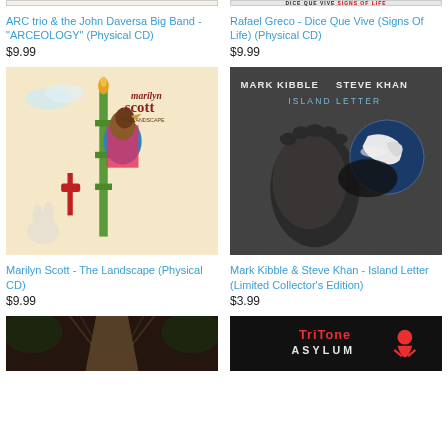[Figure (photo): Partial top of ARCEOLOGY album cover image (cropped at top)]
ARC trio & the John Daversa Big Band - "ARCEOLOGY" (Physical CD)
$9.99
[Figure (photo): Partial top of Rafael Greco Dice Que Vive Signs Of Life album cover (cropped at top)]
Rafael Greco - Dice Que Vive (Signs Of Life) (Physical CD)
$9.99
[Figure (photo): Marilyn Scott - The Landscape album art: colorful illustrated collage with a bird-person figure]
Marilyn Scott - The Landscape (Physical CD)
$9.99
[Figure (photo): Mark Kibble & Steve Khan - Island Letter: black and white photo of a footprint in sand with earth globe]
Mark Kibble & Steve Khan - Island Letter (Limited Collector's Edition)
$3.99
[Figure (photo): Partial bottom album cover: dark image of a wooden bridge or path in forest]
[Figure (photo): Partial bottom album cover: TriTone Asylum logo on black background with red figure]